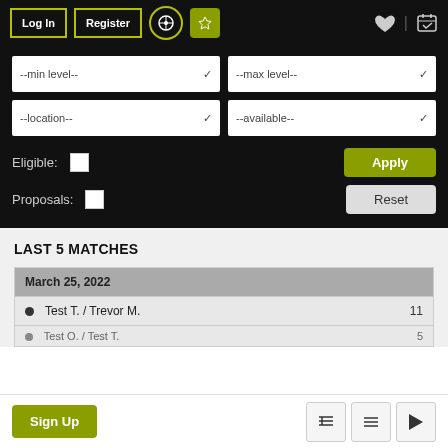Log In | Register
[Figure (screenshot): Filter dropdowns: --min level--, --max level--, --location--, --available--]
Eligible: [checkbox]
Proposals: [checkbox]
Apply
Reset
LAST 5 MATCHES
| Date/Name | Score |
| --- | --- |
| March 25, 2022 |  |
| Test T. / Trevor M. | 11 |
| Test O. / Test T. | 5 |
Sign Up